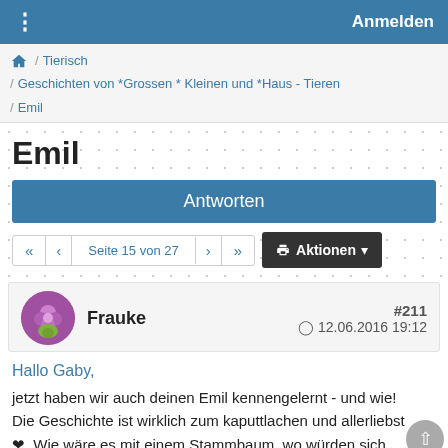⋮   Anmelden
🏠 / Tierisch / Geschichten von *Grossen * Kleinen und *Haus - Tieren / Emil
Emil
Antworten
« < Seite 15 von 27 > »  🖨 Aktionen ▾
#211  🕐 12.06.2016 19:12  Frauke
Hallo Gaby,
jetzt haben wir auch deinen Emil kennengelernt - und wie! Die Geschichte ist wirklich zum kaputtlachen und allerliebst ❤. Wie wäre es mit einem Stammbaum, wo würden sich